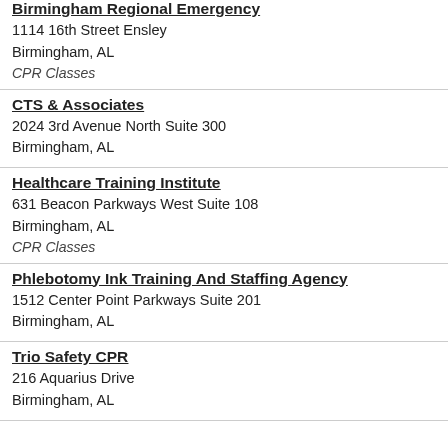Birmingham Regional Emergency
1114 16th Street Ensley
Birmingham, AL
CPR Classes
CTS & Associates
2024 3rd Avenue North Suite 300
Birmingham, AL
Healthcare Training Institute
631 Beacon Parkways West Suite 108
Birmingham, AL
CPR Classes
Phlebotomy Ink Training And Staffing Agency
1512 Center Point Parkways Suite 201
Birmingham, AL
Trio Safety CPR
216 Aquarius Drive
Birmingham, AL